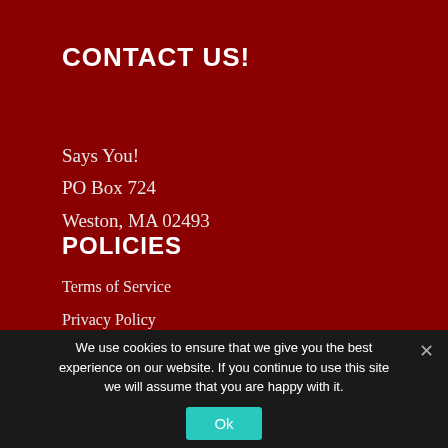CONTACT US!
Says You!
PO Box 724
Weston, MA 02493
POLICIES
Terms of Service
Privacy Policy
We use cookies to ensure that we give you the best experience on our website. If you continue to use this site we will assume that you are happy with it.